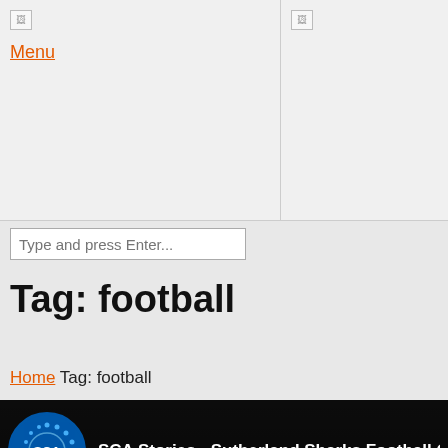Menu
Type and press Enter...
Tag: football
Home Tag: football
[Figure (screenshot): Video thumbnail for SCA Stories - Sutherland Sharks Football Club (S... with SCA circular logo on dark background]